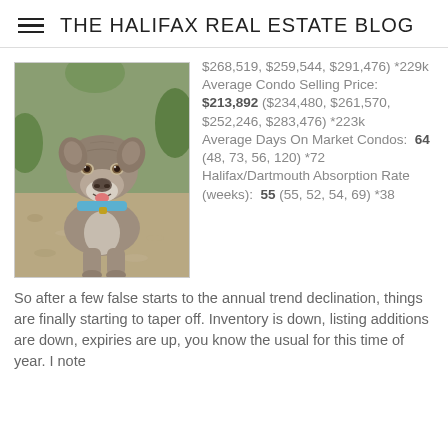THE HALIFAX REAL ESTATE BLOG
[Figure (photo): A gray/blue pit bull dog with blue collar sitting outdoors, looking at camera]
$268,519, $259,544, $291,476) *229k Average Condo Selling Price: $213,892 ($234,480, $261,570, $252,246, $283,476) *223k Average Days On Market Condos: 64 (48, 73, 56, 120) *72 Halifax/Dartmouth Absorption Rate (weeks): 55 (55, 52, 54, 69) *38
So after a few false starts to the annual trend declination, things are finally starting to taper off. Inventory is down, listing additions are down, expiries are up, you know the usual for this time of year. I note